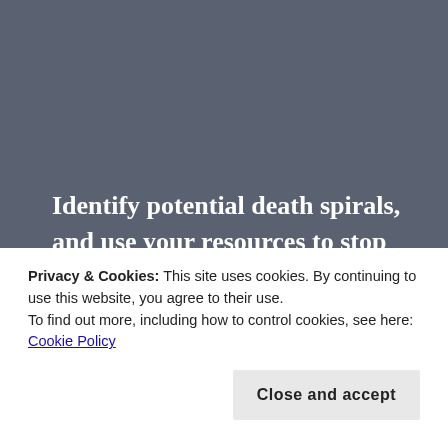Identify potential death spirals, and use your resources to stop them as quickly as possible. Economic death spirals can literally kill you if you're relying heavily on your physical health as a resource. Which resources are being tapped to capacity and are in danger of being burned out? Is there a certain changeable life situation which you
Privacy & Cookies: This site uses cookies. By continuing to use this website, you agree to their use.
To find out more, including how to control cookies, see here: Cookie Policy
to let a heavily taxed resource recover a bit. For